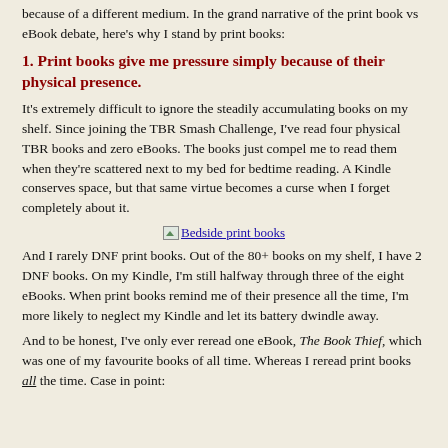because of a different medium. In the grand narrative of the print book vs eBook debate, here's why I stand by print books:
1. Print books give me pressure simply because of their physical presence.
It's extremely difficult to ignore the steadily accumulating books on my shelf. Since joining the TBR Smash Challenge, I've read four physical TBR books and zero eBooks. The books just compel me to read them when they're scattered next to my bed for bedtime reading. A Kindle conserves space, but that same virtue becomes a curse when I forget completely about it.
[Figure (photo): Image of bedside print books with hyperlink text 'Bedside print books']
And I rarely DNF print books. Out of the 80+ books on my shelf, I have 2 DNF books. On my Kindle, I'm still halfway through three of the eight eBooks. When print books remind me of their presence all the time, I'm more likely to neglect my Kindle and let its battery dwindle away.
And to be honest, I've only ever reread one eBook, The Book Thief, which was one of my favourite books of all time. Whereas I reread print books all the time. Case in point: